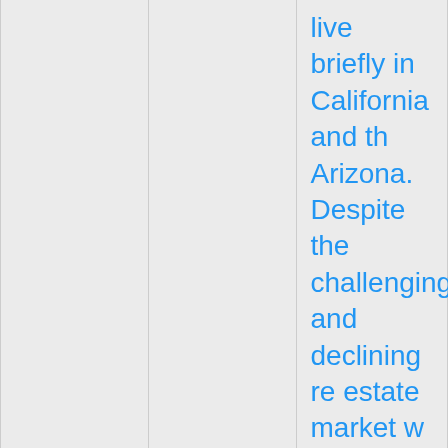|  |  | live briefly in California and th Arizona. Despite the challenging and declining re estate market w were able to sell As bitter-sweet a that whole experience mus have been for David, he was always so demonstrative o his appreciation my... |
| Nell Drake | professor | David, i've misse you for some tim |